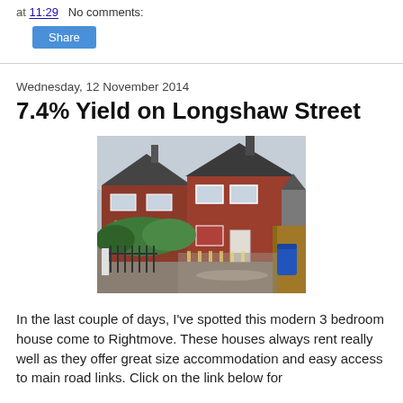at 11:29   No comments:
Share
Wednesday, 12 November 2014
7.4% Yield on Longshaw Street
[Figure (photo): Exterior photo of a modern 3 bedroom semi-detached red brick house on a wet day, with green hedges in front, iron gates, a concrete driveway, wooden fences on the sides, and a blue bin visible to the right.]
In the last couple of days, I've spotted this modern 3 bedroom house come to Rightmove. These houses always rent really well as they offer great size accommodation and easy access to main road links. Click on the link below for